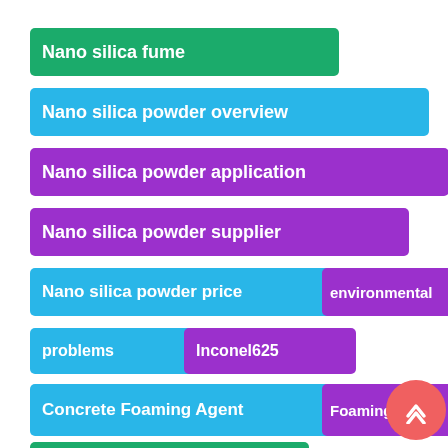Nano silica fume
Nano silica powder overview
Nano silica powder application
Nano silica powder supplier
Nano silica powder price
environmental
problems
Inconel625
Concrete Foaming Agent
Foaming Agent
Foamed Concrete